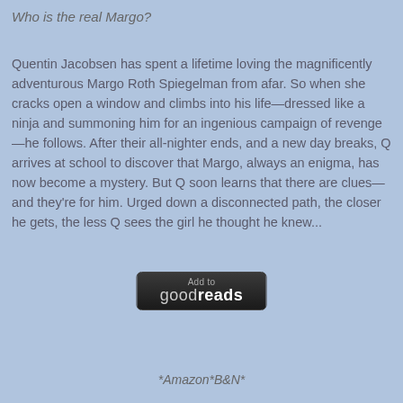Who is the real Margo?
Quentin Jacobsen has spent a lifetime loving the magnificently adventurous Margo Roth Spiegelman from afar. So when she cracks open a window and climbs into his life—dressed like a ninja and summoning him for an ingenious campaign of revenge—he follows. After their all-nighter ends, and a new day breaks, Q arrives at school to discover that Margo, always an enigma, has now become a mystery. But Q soon learns that there are clues—and they're for him. Urged down a disconnected path, the closer he gets, the less Q sees the girl he thought he knew...
[Figure (logo): Goodreads 'Add to goodreads' button — dark rounded rectangle with text 'Add to' and 'goodreads' in white/grey]
*Amazon*B&N*